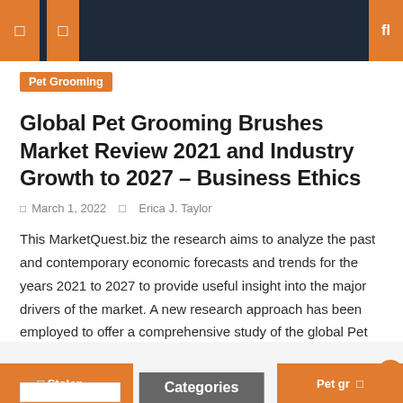Navigation bar with menu icons and search
Pet Grooming
Global Pet Grooming Brushes Market Review 2021 and Industry Growth to 2027 – Business Ethics
March 1, 2022   Erica J. Taylor
This MarketQuest.biz the research aims to analyze the past and contemporary economic forecasts and trends for the years 2021 to 2027 to provide useful insight into the major drivers of the market. A new research approach has been employed to offer a comprehensive study of the global Pet Grooming Brushes market progress and to pass [...]
Stolen ...   Categories   Pet gr